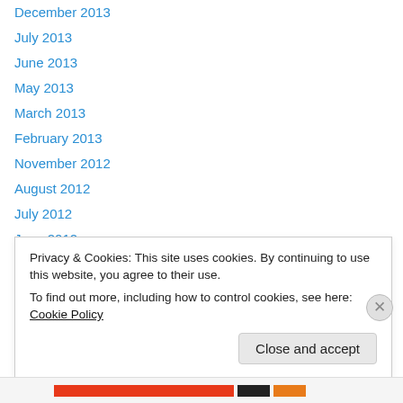December 2013
July 2013
June 2013
May 2013
March 2013
February 2013
November 2012
August 2012
July 2012
June 2012
March 2012
February 2012
January 2012
Privacy & Cookies: This site uses cookies. By continuing to use this website, you agree to their use.
To find out more, including how to control cookies, see here: Cookie Policy